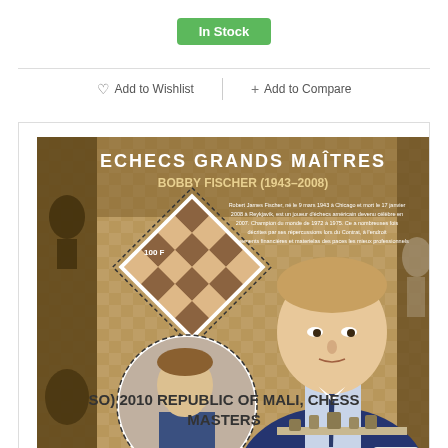In Stock
Add to Wishlist
+ Add to Compare
[Figure (photo): Stamp sheet from 2010 Republic of Mali Chess Masters series featuring Bobby Fischer (1943-2008). Title reads 'ECHECS GRANDS MAÎTRES BOBBY FISCHER (1943-2008)' with French biography text. Shows a diamond-shaped stamp with a chessboard, a circular stamp with a young chess player, and a large portrait of Bobby Fischer seated at a chess table wearing a suit.]
SO) 2010 REPUBLIC OF MALI, CHESS MASTERS